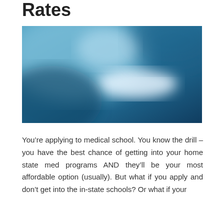Rates
[Figure (photo): Abstract blurred blue gradient image, possibly representing sky or water, with a lighter white-blue area in the center-right portion of the image.]
You’re applying to medical school. You know the drill – you have the best chance of getting into your home state med programs AND they’ll be your most affordable option (usually). But what if you apply and don’t get into the in-state schools? Or what if your